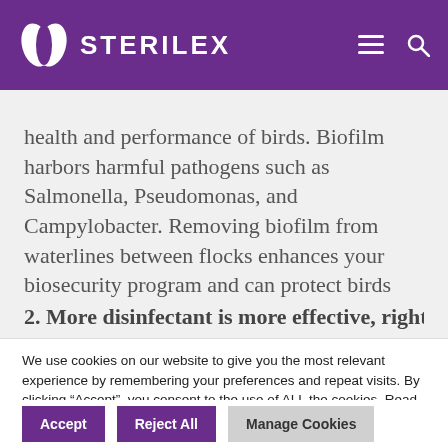[Figure (logo): Sterilex logo with purple background, white leaf icon and white text STERILEX with hamburger menu and search icons]
health and performance of birds. Biofilm harbors harmful pathogens such as Salmonella, Pseudomonas, and Campylobacter. Removing biofilm from waterlines between flocks enhances your biosecurity program and can protect birds from bacteria and viruses.
We use cookies on our website to give you the most relevant experience by remembering your preferences and repeat visits. By clicking “Accept”, you consent to the use of ALL the cookies. Read More
We do not sell personal information.